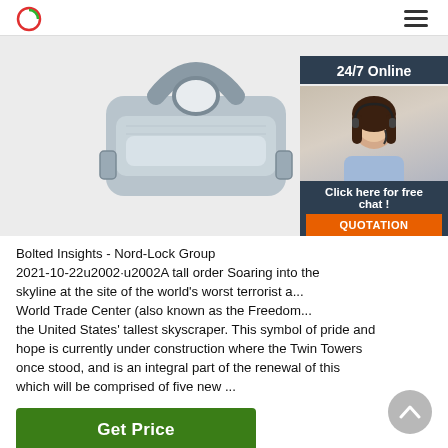Logo and navigation header
[Figure (photo): Close-up photo of a galvanized steel wire rope clip / cable clamp fitting, metallic silver, on white background. Overlaid with a 24/7 online chat widget showing a female customer service agent with headset and 'Click here for free chat!' and 'QUOTATION' buttons.]
Bolted Insights - Nord-Lock Group
2021-10-22u2002·u2002A tall order Soaring into the skyline at the site of the world's worst terrorist a... World Trade Center (also known as the Freedom... the United States' tallest skyscraper. This symbol of pride and hope is currently under construction where the Twin Towers once stood, and is an integral part of the renewal of this which will be comprised of five new ...
Get Price